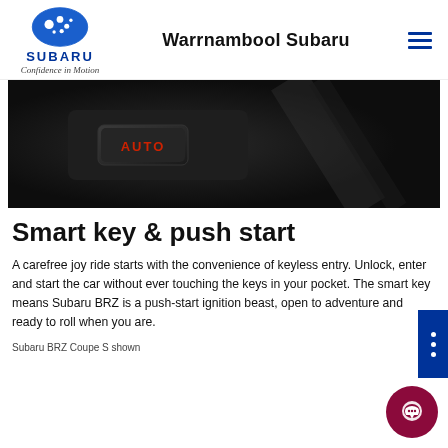Warrnambool Subaru
[Figure (photo): Close-up of a car interior AUTO button/switch in dark lighting]
Smart key & push start
A carefree joy ride starts with the convenience of keyless entry. Unlock, enter and start the car without ever touching the keys in your pocket. The smart key means Subaru BRZ is a push-start ignition beast, open to adventure and ready to roll when you are.
Subaru BRZ Coupe S shown